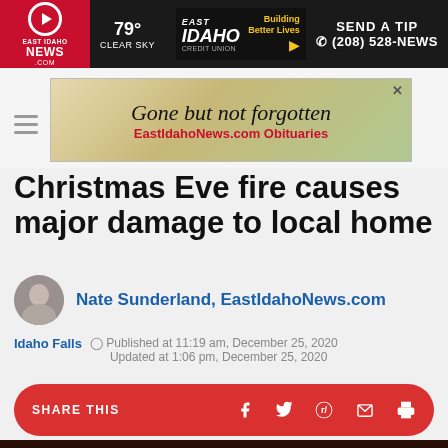East Idaho News .com | 79° CLEAR SKY | SEND A TIP (208) 528-NEWS
[Figure (other): Advertisement banner: Gone but not forgotten - EastIdahoNews.com Obituaries]
Christmas Eve fire causes major damage to local home
Nate Sunderland, EastIdahoNews.com
Idaho Falls  Published at 11:19 am, December 25, 2020
Updated at 1:06 pm, December 25, 2020
[Figure (other): Share this bar with social media icons: Facebook, Twitter, Reddit, Email, Print]
[Figure (photo): Dark nighttime photo, bottom strip of page]